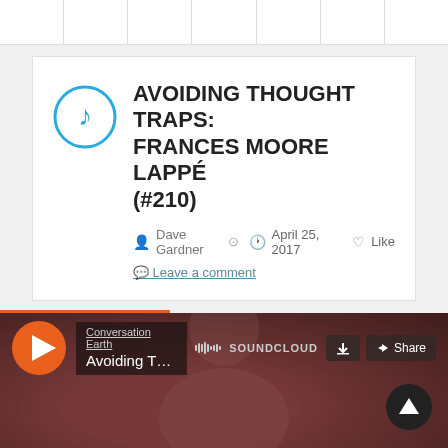Navigation bar with page tabs
AVOIDING THOUGHT TRAPS: FRANCES MOORE LAPPÉ (#210)
Dave Gardner  April 25, 2017  Like  Leave a comment
[Figure (screenshot): SoundCloud audio player embed showing 'Conversation Earth' channel with track 'Avoiding Thought Traps: France...' with play button, download button, share button, and SoundCloud logo. Dark reddish-brown background with person photo visible behind controls.]